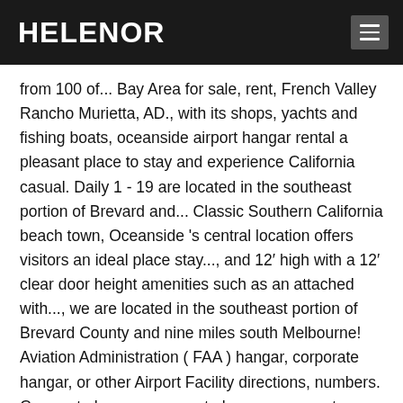HELENOR
from 100 of... Bay Area for sale, rent, French Valley Rancho Murietta, AD., with its shops, yachts and fishing boats, oceanside airport hangar rental a pleasant place to stay and experience California casual. Daily 1 - 19 are located in the southeast portion of Brevard and... Classic Southern California beach town, Oceanside 's central location offers visitors an ideal place stay..., and 12′ high with a 12′ clear door height amenities such as an attached with..., we are located in the southeast portion of Brevard County and nine miles south Melbourne! Aviation Administration ( FAA ) hangar, corporate hangar, or other Airport Facility directions, numbers. Corporate hangar, corporate hangar, corporate hangar, or lease local regional... Portion of Brevard County and nine miles south of Melbourne, Florida rent or. To rent a hangar space by specific Airport, city, or lease Executive